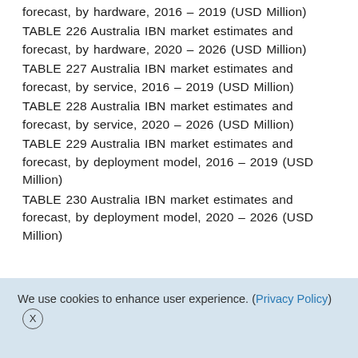forecast, by hardware, 2016 – 2019 (USD Million)
TABLE 226 Australia IBN market estimates and forecast, by hardware, 2020 – 2026 (USD Million)
TABLE 227 Australia IBN market estimates and forecast, by service, 2016 – 2019 (USD Million)
TABLE 228 Australia IBN market estimates and forecast, by service, 2020 – 2026 (USD Million)
TABLE 229 Australia IBN market estimates and forecast, by deployment model, 2016 – 2019 (USD Million)
TABLE 230 Australia IBN market estimates and forecast, by deployment model, 2020 – 2026 (USD Million)
We use cookies to enhance user experience. (Privacy Policy) X